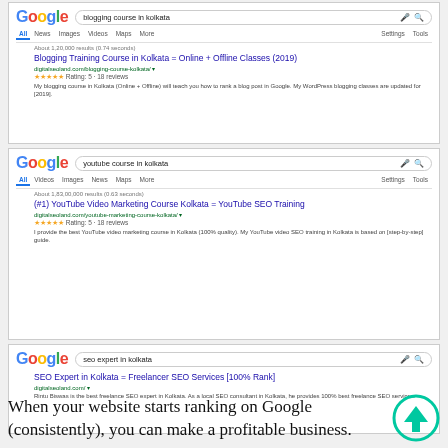[Figure (screenshot): Google search result for 'blogging course in kolkata' showing Blogging Training Course in Kolkata = Online + Offline Classes (2019) from digitalseoland.com with 5-star rating and description]
[Figure (screenshot): Google search result for 'youtube course in kolkata' showing (#1) YouTube Video Marketing Course Kolkata = YouTube SEO Training from digitalseoland.com with 5-star rating and description]
[Figure (screenshot): Google search result for 'seo expert in kolkata' showing SEO Expert in Kolkata = Freelancer SEO Services [100% Rank] from digitalseoland.com with description]
When your website starts ranking on Google (consistently), you can make a profitable business.